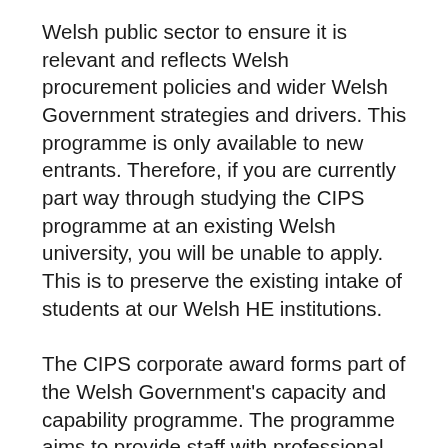Welsh public sector to ensure it is relevant and reflects Welsh procurement policies and wider Welsh Government strategies and drivers. This programme is only available to new entrants. Therefore, if you are currently part way through studying the CIPS programme at an existing Welsh university, you will be unable to apply. This is to preserve the existing intake of students at our Welsh HE institutions.
The CIPS corporate award forms part of the Welsh Government's capacity and capability programme. The programme aims to provide staff with professional development opportunities, creates professionals of the future, addresses the capacity issues faced across the profession and raises the profile of procurement in Wales.